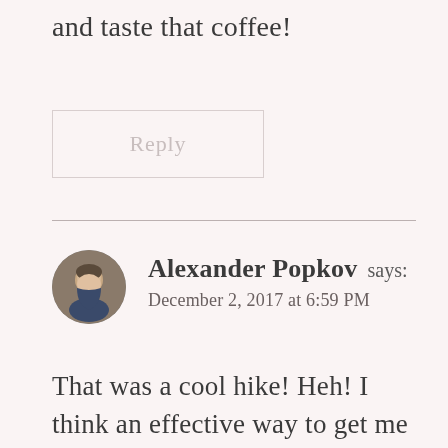and taste that coffee!
Reply
Alexander Popkov says:
December 2, 2017 at 6:59 PM
That was a cool hike! Heh! I think an effective way to get me on top of the...